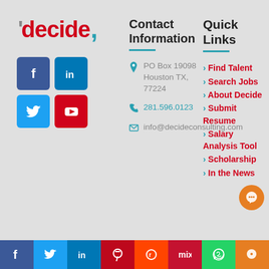[Figure (logo): Decide Consulting logo with red text and teal comma accent]
[Figure (infographic): Social media icons: Facebook (blue), LinkedIn (blue), Twitter (blue), YouTube (red)]
Contact Information
PO Box 19098 Houston TX, 77224
281.596.0123
info@decideconsulting.com
Quick Links
› Find Talent
› Search Jobs
› About Decide
› Submit Resume
› Salary Analysis Tool
› Scholarship
› In the News
f  Twitter  in  Pinterest  Reddit  mix  WhatsApp  chat